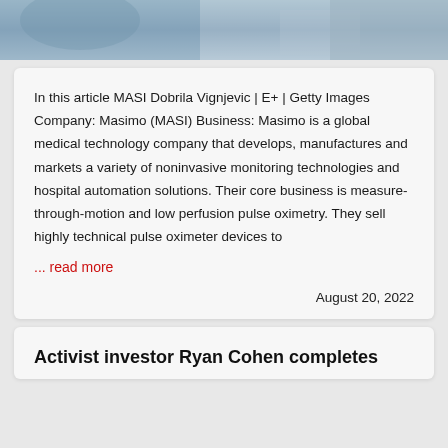[Figure (photo): Partial photo strip at top of page showing a medical/clinical scene with a person in blue gloves and another in a plaid shirt]
In this article MASI Dobrila Vignjevic | E+ | Getty Images Company: Masimo (MASI) Business: Masimo is a global medical technology company that develops, manufactures and markets a variety of noninvasive monitoring technologies and hospital automation solutions. Their core business is measure-through-motion and low perfusion pulse oximetry. They sell highly technical pulse oximeter devices to
... read more
August 20, 2022
Activist investor Ryan Cohen completes